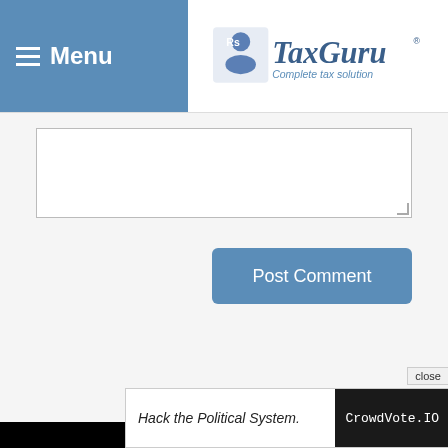Menu | TaxGuru - Complete Tax Solution
[Figure (screenshot): Comment textarea input box]
[Figure (screenshot): Post Comment button]
[Figure (screenshot): Video player overlay with loading spinner and close X button]
– 2022 by CA Raman Singla
nge under GST
ctical Analysis
4. Courts should avoid uploading scanned copies of judgments: SC
5. Allow Filing of Form GSTR-9A for taxpayer who Opted to Pa[rtial text cut]
6. Co[ntent partially hidden] Li[ne cut off]
[Figure (screenshot): Advertisement overlay: 'Hack the Political System.' with CrowdVote.IO branding and close button]